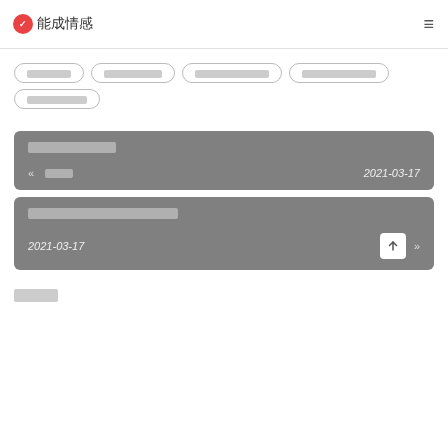能成情感 [logo/nav bar]
[category buttons row 1: 6-char, 8-char, 10-char, 10-char]
[category buttons row 2: 8-char]
[Article card 1: title ~9 chars, meta: « [3 chars] | 2021-03-17]
[Article card 2: title ~15 chars, meta: 2021-03-17 | » back-to-top]
[4-char section footer heading]